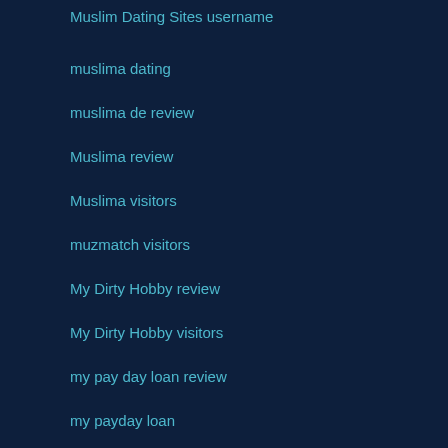Muslim Dating Sites username
muslima dating
muslima de review
Muslima review
Muslima visitors
muzmatch visitors
My Dirty Hobby review
My Dirty Hobby visitors
my pay day loan review
my payday loan